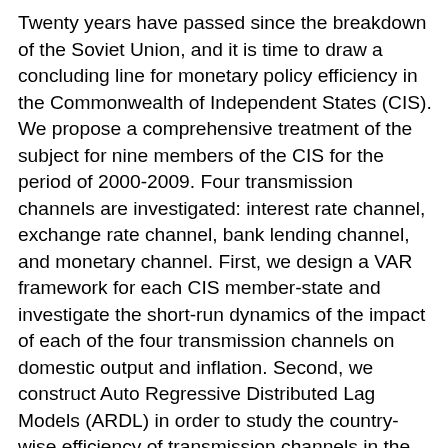Twenty years have passed since the breakdown of the Soviet Union, and it is time to draw a concluding line for monetary policy efficiency in the Commonwealth of Independent States (CIS). We propose a comprehensive treatment of the subject for nine members of the CIS for the period of 2000-2009. Four transmission channels are investigated: interest rate channel, exchange rate channel, bank lending channel, and monetary channel. First, we design a VAR framework for each CIS member-state and investigate the short-run dynamics of the impact of each of the four transmission channels on domestic output and inflation. Second, we construct Auto Regressive Distributed Lag Models (ARDL) in order to study the country-wise efficiency of transmission channels in the long run. Finally, we employ a panel data fixed effects method to show how the CIS behaves as a region. Our short-run individual country analysis yields highly heterogeneous results. In the long run, however, it's apparent that broad monetary base (M2) is the most influential determinant of aggregate output. Inflation is affected the most by the refinancing rate and the flow of remittances. For both output and inflation, exchange